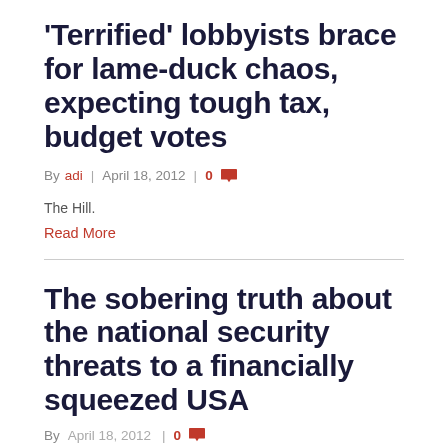'Terrified' lobbyists brace for lame-duck chaos, expecting tough tax, budget votes
By adi | April 18, 2012 | 0
The Hill.
Read More
The sobering truth about the national security threats to a financially squeezed USA
By April 18, 2012 | 0